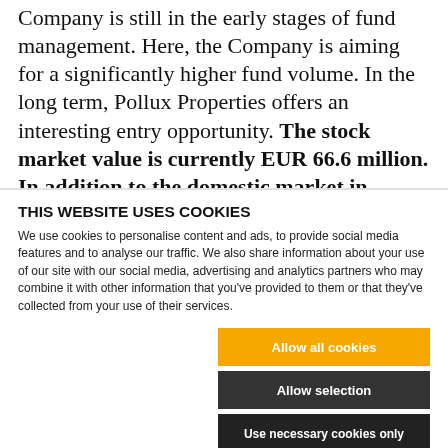Company is still in the early stages of fund management. Here, the Company is aiming for a significantly higher fund volume. In the long term, Pollux Properties offers an interesting entry opportunity. The stock market value is currently EUR 66.6 million. In addition to the domestic market in Singapore, the shares are also
THIS WEBSITE USES COOKIES
We use cookies to personalise content and ads, to provide social media features and to analyse our traffic. We also share information about your use of our site with our social media, advertising and analytics partners who may combine it with other information that you've provided to them or that they've collected from your use of their services.